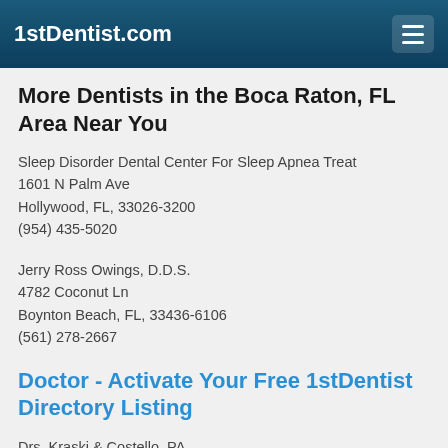1stDentist.com
More Dentists in the Boca Raton, FL Area Near You
Sleep Disorder Dental Center For Sleep Apnea Treat
1601 N Palm Ave
Hollywood, FL, 33026-3200
(954) 435-5020
Jerry Ross Owings, D.D.S.
4782 Coconut Ln
Boynton Beach, FL, 33436-6106
(561) 278-2667
Doctor - Activate Your Free 1stDentist Directory Listing
Drs. Kraski & Costello, PA
1089 W. Granada Blvd., Suite 1
Ormond Beach , FL, 32174
(386) 673-1611